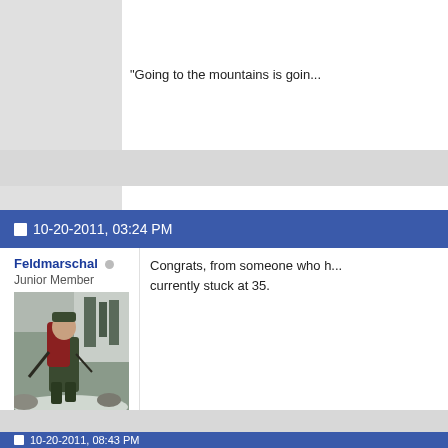"Going to the mountains is goin...
10-20-2011, 03:24 PM
Feldmarschal
Junior Member
[Figure (photo): Person hiking with large red backpack in snowy mountain trail]
Join Date: Oct 2007
Location: Groton, MA (Avatar: North Twin Trail)
Posts: 21
Congrats, from someone who h... currently stuck at 35.
10-20-2011, 08:43 PM